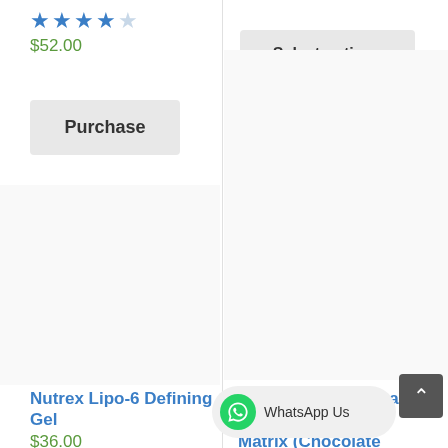[Figure (other): 4-star rating (4 out of 5 stars, blue filled stars with one empty)]
$52.00
[Figure (other): Select options button (grey rounded rectangle)]
[Figure (other): Purchase button (grey rounded rectangle)]
[Figure (photo): Product image area left - Nutrex Lipo-6 Defining Gel]
[Figure (photo): Product image area right - BSN Syntha-6 Ultra Premium Protein Matrix Chocolate Milkshake]
Nutrex Lipo-6 Defining Gel
$36.00
BSN, Syntha-6 Ultra Premium Protein Matrix (Chocolate Milkshake
[Figure (other): WhatsApp Us floating button]
[Figure (other): Scroll to top chevron button]